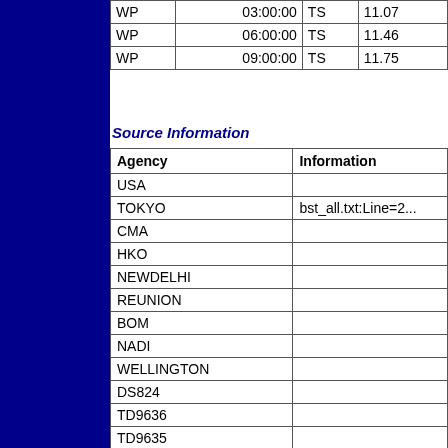|  |  |  |
| --- | --- | --- |
| WP | 03:00:00 | TS | 11.07 |
| WP | 06:00:00 | TS | 11.46 |
| WP | 09:00:00 | TS | 11.75 |
Source Information
| Agency | Information |
| --- | --- |
| USA |  |
| TOKYO | bst_all.txt:Line=2... |
| CMA |  |
| HKO |  |
| NEWDELHI |  |
| REUNION |  |
| BOM |  |
| NADI |  |
| WELLINGTON |  |
| DS824 |  |
| TD9636 |  |
| TD9635 |  |
| NEUMANN |  |
| MLC |  |